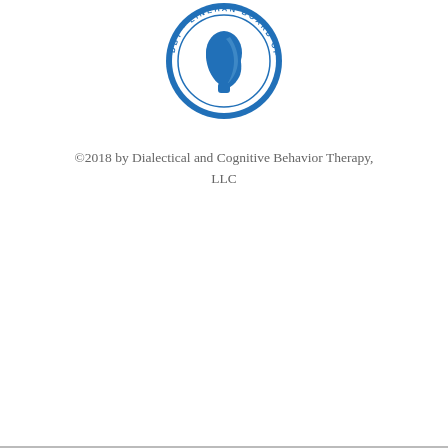[Figure (logo): DBT Linehan Board of Certification circular seal/logo in blue and white, featuring a profile of a face in the center surrounded by circular text reading 'DBT · LINEHAN BOARD OF CERTIFICATION']
©2018 by Dialectical and Cognitive Behavior Therapy, LLC